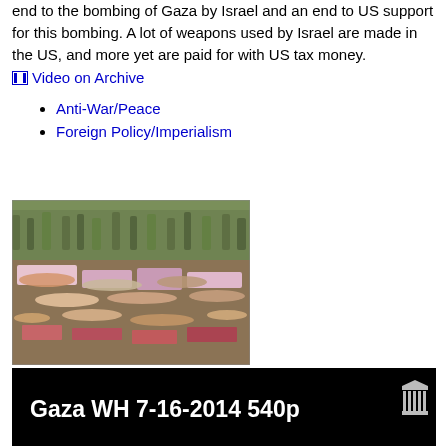end to the bombing of Gaza by Israel and an end to US support for this bombing. A lot of weapons used by Israel are made in the US, and more yet are paid for with US tax money.
Video on Archive
Anti-War/Peace
Foreign Policy/Imperialism
[Figure (photo): Protest die-in with people lying on the ground, crowd standing in background, outdoor setting with trees]
[Figure (screenshot): Video thumbnail with black background showing title 'Gaza WH 7-16-2014 540p' and an Archive.org building icon in top right corner]